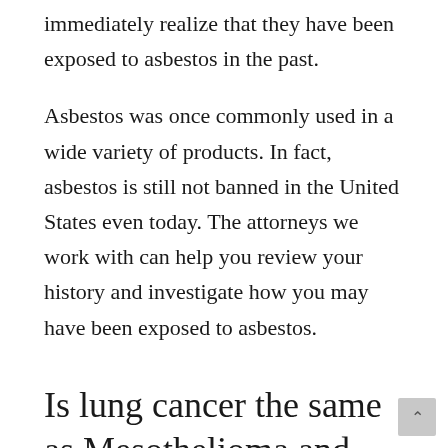immediately realize that they have been exposed to asbestos in the past.
Asbestos was once commonly used in a wide variety of products. In fact, asbestos is still not banned in the United States even today. The attorneys we work with can help you review your history and investigate how you may have been exposed to asbestos.
Is lung cancer the same as Mesothelioma and can